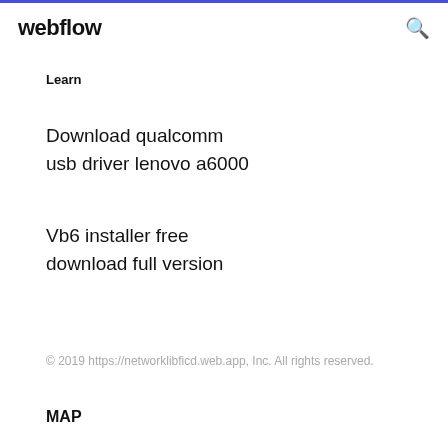webflow
Learn
Download qualcomm
usb driver lenovo a6000
Vb6 installer free
download full version
© 2019 https://networklibficd.web.app, Inc. All rights reserved.
MAP